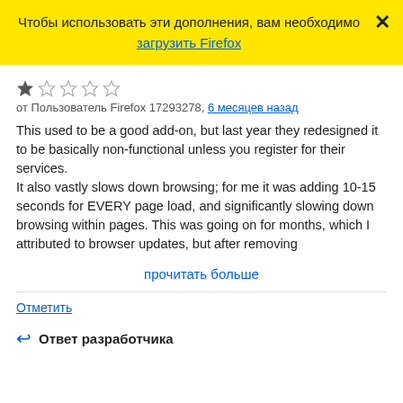[Figure (screenshot): Yellow banner with Russian text 'Чтобы использовать эти дополнения, вам необходимо загрузить Firefox' and a close X button]
[Figure (other): Star rating: 1 out of 5 stars (first star filled, rest empty)]
от Пользователь Firefox 17293278, 6 месяцев назад
This used to be a good add-on, but last year they redesigned it to be basically non-functional unless you register for their services.
It also vastly slows down browsing; for me it was adding 10-15 seconds for EVERY page load, and significantly slowing down browsing within pages. This was going on for months, which I attributed to browser updates, but after removing
прочитать больше
Отметить
Ответ разработчика